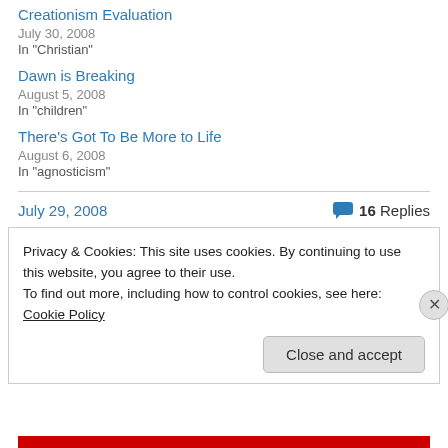Creationism Evaluation
July 30, 2008
In "Christian"
Dawn is Breaking
August 5, 2008
In "children"
There's Got To Be More to Life
August 6, 2008
In "agnosticism"
July 29, 2008   16 Replies
Privacy & Cookies: This site uses cookies. By continuing to use this website, you agree to their use.
To find out more, including how to control cookies, see here: Cookie Policy
Close and accept